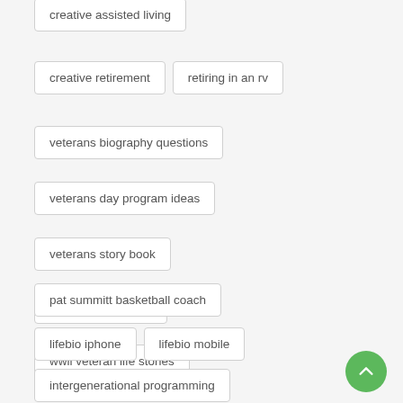creative assisted living
creative retirement
retiring in an rv
veterans biography questions
veterans day program ideas
veterans story book
veterans storybook
wwii veteran life stories
pat summitt basketball coach
lifebio iphone
lifebio mobile
intergenerational programming